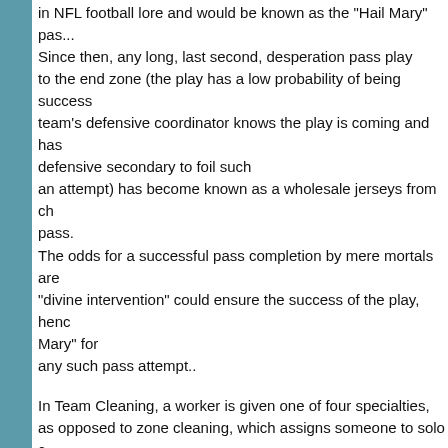in NFL football lore and would be known as the "Hail Mary" pass. Since then, any long, last second, desperation pass play to the end zone (the play has a low probability of being success team's defensive coordinator knows the play is coming and has defensive secondary to foil such an attempt) has become known as a wholesale jerseys from ch pass. The odds for a successful pass completion by mere mortals are "divine intervention" could ensure the success of the play, henc Mary" for any such pass attempt..
In Team Cleaning, a worker is given one of four specialties, as opposed to zone cleaning, which assigns someone to solo c A light duty specialist empties trash, captures dust, cleans boar A vacuum specialist vacuums, repositions furniture, checks the starter's work, and turns off lights.
Please note that this only works on jersey/knits and no